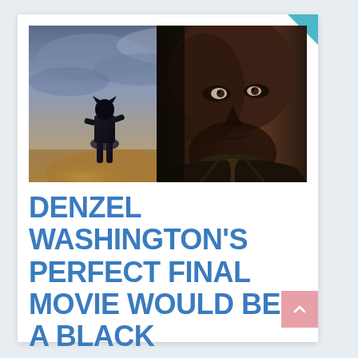[Figure (photo): Composite movie poster image showing a Black Panther suited figure standing on a surface against a dramatic cloudy sky, with a close-up of a man's face (resembling Denzel Washington) on the right side in the foreground.]
DENZEL WASHINGTON'S PERFECT FINAL MOVIE WOULD BE A BLACK PANTHER SEQUEL